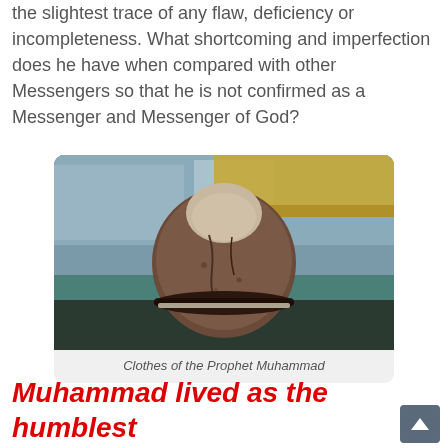the slightest trace of any flaw, deficiency or incompleteness. What shortcoming and imperfection does he have when compared with other Messengers so that he is not confirmed as a Messenger and Messenger of God?
[Figure (photo): A photograph of the clothes (hat/cap) of the Prophet Muhammad displayed on a surface, with a blurred background showing interior surroundings.]
Clothes of the Prophet Muhammad
Muhammad lived as the humblest of all